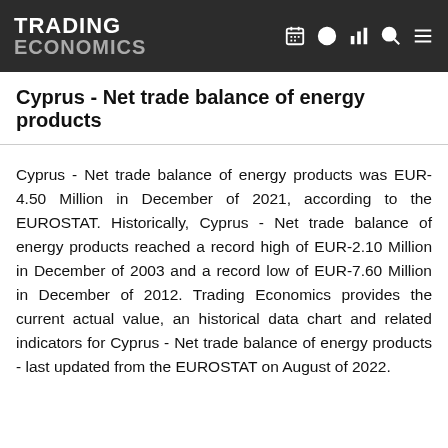TRADING ECONOMICS
Cyprus - Net trade balance of energy products
Cyprus - Net trade balance of energy products was EUR-4.50 Million in December of 2021, according to the EUROSTAT. Historically, Cyprus - Net trade balance of energy products reached a record high of EUR-2.10 Million in December of 2003 and a record low of EUR-7.60 Million in December of 2012. Trading Economics provides the current actual value, an historical data chart and related indicators for Cyprus - Net trade balance of energy products - last updated from the EUROSTAT on August of 2022.